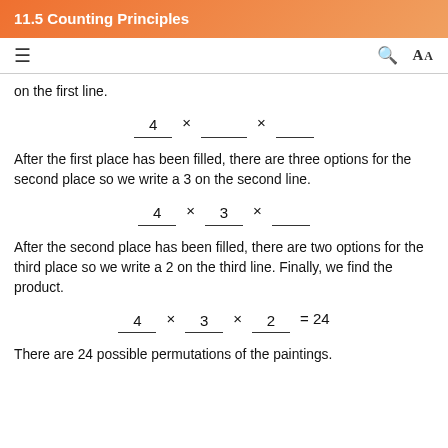11.5 Counting Principles
on the first line.
After the first place has been filled, there are three options for the second place so we write a 3 on the second line.
After the second place has been filled, there are two options for the third place so we write a 2 on the third line. Finally, we find the product.
There are 24 possible permutations of the paintings.